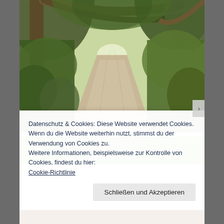[Figure (photo): A nature path or trail lined with lush green trees and vegetation forming a natural tunnel. The dirt path stretches into the distance, with overhanging tree branches and dense green foliage on both sides.]
[Figure (photo): Partial view of a second nature photo showing green vegetation, likely a continuation of a photo gallery.]
Datenschutz & Cookies: Diese Website verwendet Cookies. Wenn du die Website weiterhin nutzt, stimmst du der Verwendung von Cookies zu.
Weitere Informationen, beispielsweise zur Kontrolle von Cookies, findest du hier:
Cookie-Richtlinie
Schließen und Akzeptieren